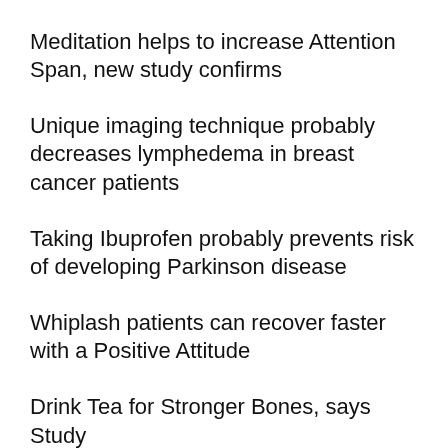Meditation helps to increase Attention Span, new study confirms
Unique imaging technique probably decreases lymphedema in breast cancer patients
Taking Ibuprofen probably prevents risk of developing Parkinson disease
Whiplash patients can recover faster with a Positive Attitude
Drink Tea for Stronger Bones, says Study